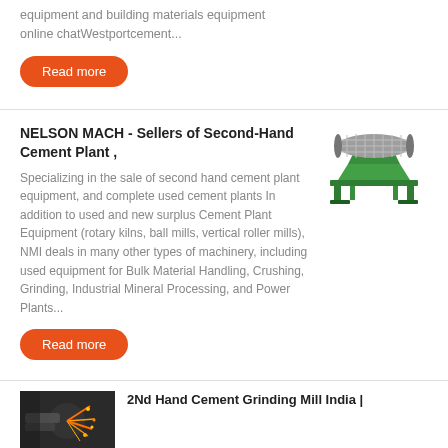equipment and building materials equipment online chatWestportcement...
Read more
NELSON MACH - Sellers of Second-Hand Cement Plant ,
Specializing in the sale of second hand cement plant equipment, and complete used cement plants In addition to used and new surplus Cement Plant Equipment (rotary kilns, ball mills, vertical roller mills), NMI deals in many other types of machinery, including used equipment for Bulk Material Handling, Crushing, Grinding, Industrial Mineral Processing, and Power Plants...
[Figure (photo): Green industrial magnetic separator machine with roller and metal frame]
Read more
[Figure (photo): Industrial grinding or cutting equipment, close-up photo]
2Nd Hand Cement Grinding Mill India |